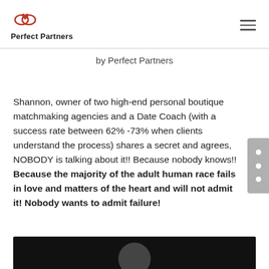Perfect Partners
by Perfect Partners
Shannon, owner of two high-end personal boutique matchmaking agencies and a Date Coach (with a success rate between 62% -73% when clients understand the process) shares a secret and agrees, NOBODY is talking about it!! Because nobody knows!! Because the majority of the adult human race fails in love and matters of the heart and will not admit it! Nobody wants to admit failure!
[Figure (photo): Bottom portion of a photo showing a person's head/silhouette against a dark background]